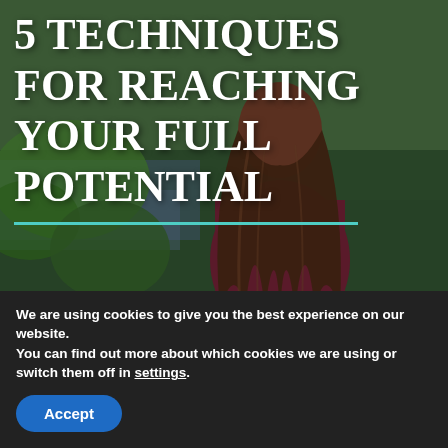[Figure (photo): A woman with long brown hair seen from behind, wearing a dark maroon top, standing near a green landscape with water in the background. Overlaid bold white text reads '5 TECHNIQUES FOR REACHING YOUR FULL POTENTIAL' with a teal horizontal divider line.]
5 TECHNIQUES FOR REACHING YOUR FULL POTENTIAL
People from all walks of life can benefit from either professional
We are using cookies to give you the best experience on our website.
You can find out more about which cookies we are using or switch them off in settings.
Accept